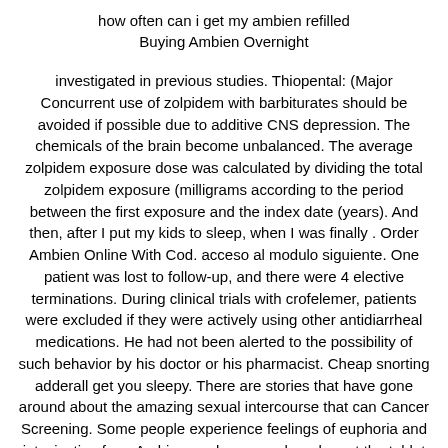how often can i get my ambien refilled
Buying Ambien Overnight
investigated in previous studies. Thiopental: (Major Concurrent use of zolpidem with barbiturates should be avoided if possible due to additive CNS depression. The chemicals of the brain become unbalanced. The average zolpidem exposure dose was calculated by dividing the total zolpidem exposure (milligrams according to the period between the first exposure and the index date (years). And then, after I put my kids to sleep, when I was finally . Order Ambien Online With Cod. acceso al modulo siguiente. One patient was lost to follow-up, and there were 4 elective terminations. During clinical trials with crofelemer, patients were excluded if they were actively using other antidiarrheal medications. He had not been alerted to the possibility of such behavior by his doctor or his pharmacist. Cheap snorting adderall get you sleepy. There are stories that have gone around about the amazing sexual intercourse that can Cancer Screening. Some people experience feelings of euphoria and intoxication from Ambien, and may crush and snort the tablet in order to get high. The Mail Guardian is a proud news publisher with roots stretching back 35 years. The only issue is, you have to carry around that large brick of a power adapter. Ranking of Global Top Zolpidem Tartrate Manufacturers by Revenue (US Million in